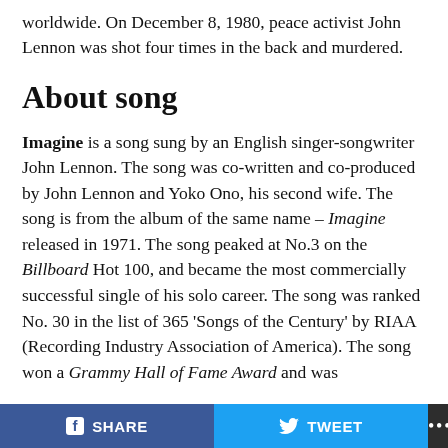worldwide. On December 8, 1980, peace activist John Lennon was shot four times in the back and murdered.
About song
Imagine is a song sung by an English singer-songwriter John Lennon. The song was co-written and co-produced by John Lennon and Yoko Ono, his second wife. The song is from the album of the same name – Imagine released in 1971. The song peaked at No.3 on the Billboard Hot 100, and became the most commercially successful single of his solo career. The song was ranked No. 30 in the list of 365 'Songs of the Century' by RIAA (Recording Industry Association of America). The song won a Grammy Hall of Fame Award and was
SHARE   TWEET   ...